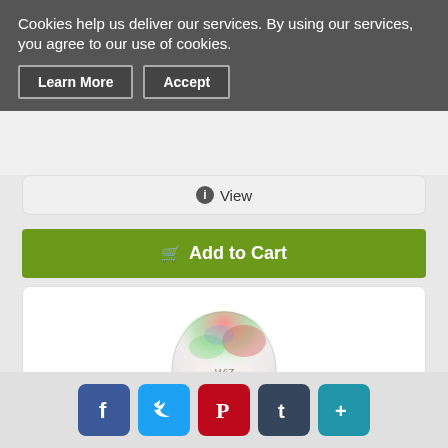Cookies help us deliver our services. By using our services, you agree to our use of cookies.
Learn More
Accept
View
Add to Cart
[Figure (photo): WiZ smart LED light bulb with colorful RGB glow on top, white body, E26 base]
WiZ-Smart-Products - IZ0087581 - WiZ - 6...
$43.11
[Figure (infographic): Social share buttons: Facebook, Twitter, Pinterest, Tumblr, More]